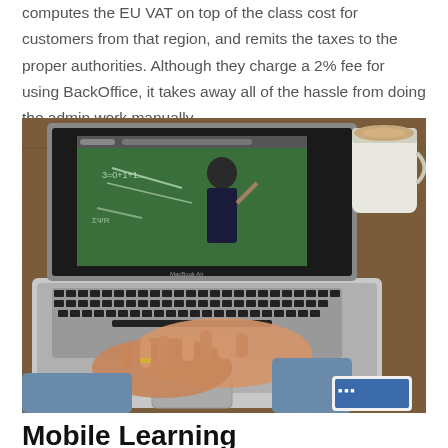computes the EU VAT on top of the class cost for customers from that region, and remits the taxes to the proper authorities. Although they charge a 2% fee for using BackOffice, it takes away all of the hassle from doing the admin work manually.
[Figure (photo): A person typing on a MacBook Air laptop showing a video of a teacher writing on a chalkboard. A coffee cup and smartphone are visible on a wooden desk beside the laptop.]
Mobile Learning